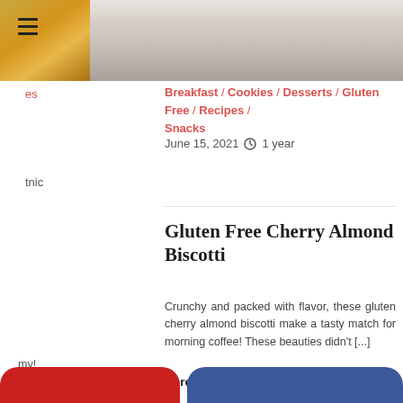[Figure (photo): Top image area showing food photos - thumbnail of golden baked item on left, main food photo on right]
es
Breakfast / Cookies / Desserts / Gluten Free / Recipes / Snacks
June 15, 2021 ⊙ 1 year
tnic
Gluten Free Cherry Almond Biscotti
Crunchy and packed with flavor, these gluten cherry almond biscotti make a tasty match for morning coffee! These beauties didn't [...]
my! re a [...]
Spread the love
[Figure (infographic): Social media share buttons: Pinterest, Facebook, Twitter, Instagram icons]